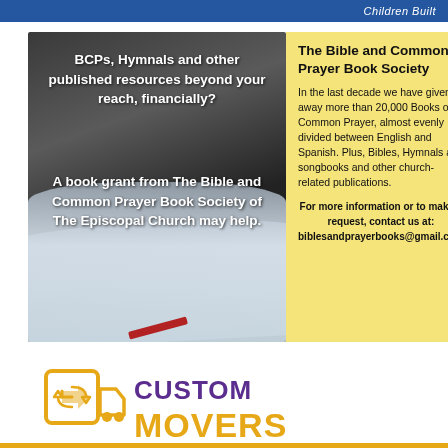Children Built
[Figure (photo): Open Bible/book photo with white bold text overlay: 'BCPs, Hymnals and other published resources beyond your reach, financially? A book grant from The Bible and Common Prayer Book Society of The Episcopal Church may help.']
The Bible and Common Prayer Book Society
In the last decade we have given away more than 20,000 Books of Common Prayer, almost evenly divided between English and Spanish. Plus, Bibles, Hymnals and songbooks and other church-related publications.
For more information or to make a request, contact us at: biblesandprayerbooks@gmail.com
[Figure (logo): Custom Movers logo with moving truck icon in gold/yellow, 'CUSTOM' in purple bold text, 'MOVERS' in large gold bold text]